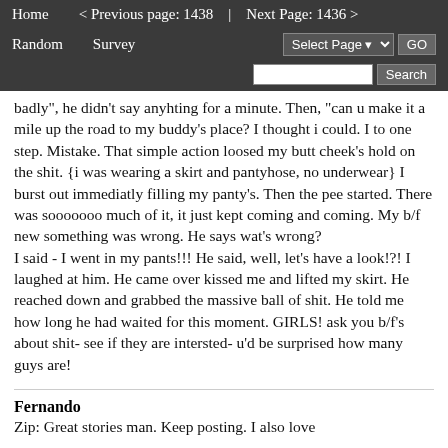Home   < Previous page: 1438   |   Next Page: 1436 >   Random   Survey   Select Page ▾   GO   Search
badly", he didn't say anyhting for a minute. Then, "can u make it a mile up the road to my buddy's place? I thought i could. I to one step. Mistake. That simple action loosed my butt cheek's hold on the shit. {i was wearing a skirt and pantyhose, no underwear} I burst out immediatly filling my panty's. Then the pee started. There was sooooooo much of it, it just kept coming and coming. My b/f new something was wrong. He says wat's wrong?
I said - I went in my pants!!! He said, well, let's have a look!?! I laughed at him. He came over kissed me and lifted my skirt. He reached down and grabbed the massive ball of shit. He told me how long he had waited for this moment. GIRLS! ask you b/f's about shit- see if they are intersted- u'd be surprised how many guys are!
Fernando
Zip: Great stories man. Keep posting. I also love